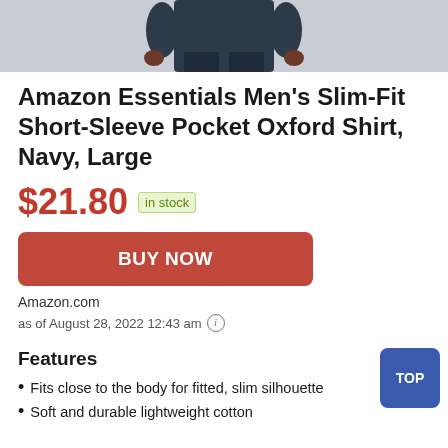[Figure (photo): Partial photo of a man wearing a navy short-sleeve shirt, cropped at the waist/torso area showing dark jeans]
Amazon Essentials Men's Slim-Fit Short-Sleeve Pocket Oxford Shirt, Navy, Large
$21.80  in stock
BUY NOW
Amazon.com
as of August 28, 2022 12:43 am
Features
Fits close to the body for fitted, slim silhouette
Soft and durable lightweight cotton